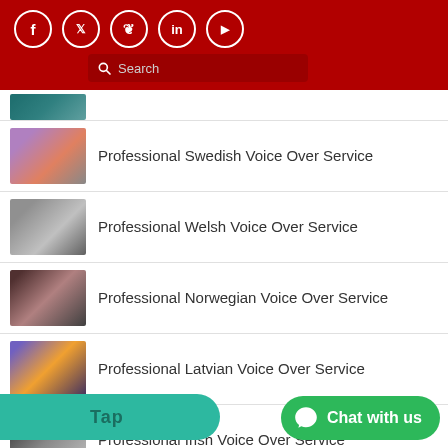Social media icons: Facebook, Twitter, Pinterest, LinkedIn, YouTube; Search bar
Professional Swedish Voice Over Service
Professional Welsh Voice Over Service
Professional Norwegian Voice Over Service
Professional Latvian Voice Over Service
Professional Irish Voice Over Service
[Figure (screenshot): Tap overlay and Chat with us button overlay at bottom of page]